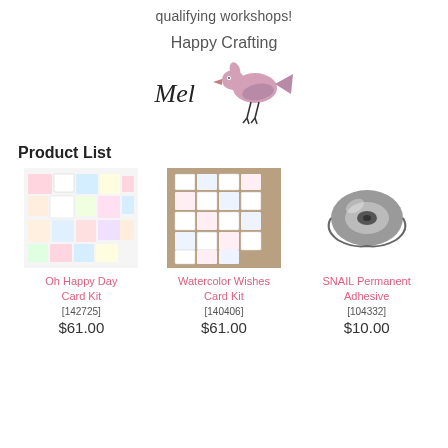qualifying workshops!
Happy Crafting
[Figure (illustration): Handwritten signature 'Mel' next to a small pink bird illustration]
Product List
[Figure (photo): Oh Happy Day Card Kit product photo showing multiple colorful cards arranged on white background]
Oh Happy Day Card Kit
[142725]
$61.00
[Figure (photo): Watercolor Wishes Card Kit product photo showing multiple cards arranged on brown background]
Watercolor Wishes Card Kit
[140406]
$61.00
[Figure (photo): SNAIL Permanent Adhesive product photo showing tape dispenser on white background]
SNAIL Permanent Adhesive
[104332]
$10.00